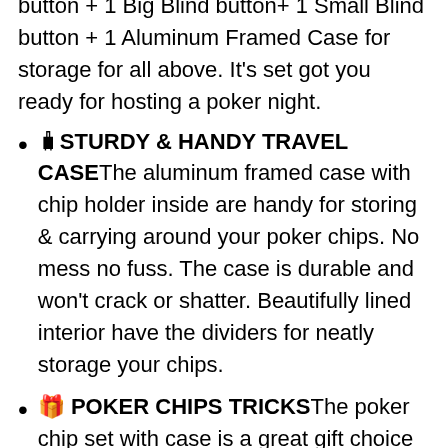button + 1 Big Blind button+ 1 Small Blind button + 1 Aluminum Framed Case for storage for all above. It's set got you ready for hosting a poker night.
🧳︎STURDY & HANDY TRAVEL CASE︎The aluminum framed case with chip holder inside are handy for storing & carrying around your poker chips. No mess no fuss. The case is durable and won't crack or shatter. Beautifully lined interior have the dividers for neatly storage your chips.
🎁 ︎POKER CHIPS TRICKS︎The poker chip set with case is a great gift choice for Christmas, Thanksgiving and all the occasions including birthday. If you're looking for a set for magic tricks practising, or a gift for people who are into magic, this is the perfect gift choice